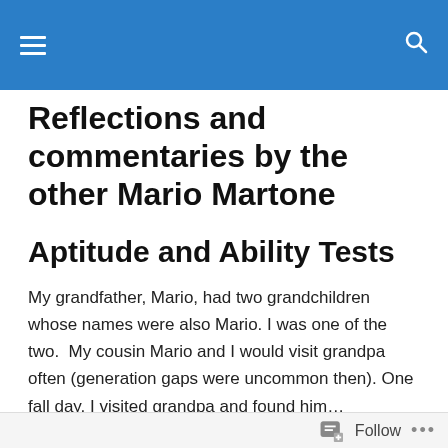≡  🔍
Reflections and commentaries by the other Mario Martone
Aptitude and Ability Tests
My grandfather, Mario, had two grandchildren whose names were also Mario. I was one of the two.  My cousin Mario and I would visit grandpa often (generation gaps were uncommon then). One fall day, I visited grandpa and found him...
Follow ...